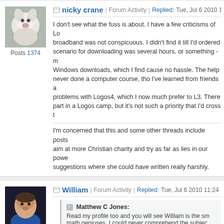nicky crane | Forum Activity | Replied: Tue, Jul 6 2010 1:04 PM
I don't see what the fuss is about. I have a few criticisms of Lo... broadband was not conspicuous. I didn't find it till I'd ordered... scenario for downloading was several hours, or something - m... Windows downloads, which I find cause no hassle. The help ... never done a computer course, tho I've learned from friends a... problems with Logos4, which I now much prefer to L3. There... part in a Logos camp, but it's not such a priority that I'd cross t...
I'm concerned that this and some other threads include posts ... aim at more Christian charity and try as far as lies in our powe... suggestions where she could have written really harshly.
William | Forum Activity | Replied: Tue, Jul 6 2010 11:24 PM
Matthew C Jones: Read my profile too and you will see William is the sm... math geniuses. I could never comprehend the subjec...
Well, Thank you Matthew for that complement. I just looked a... because you fall off the horse does not mean you should neve... Christ. If you want or need math help....you or your family, or n...
MJ. Smith | Forum Activity | Replied: Tue, Jul 6 2010 11:37 PM